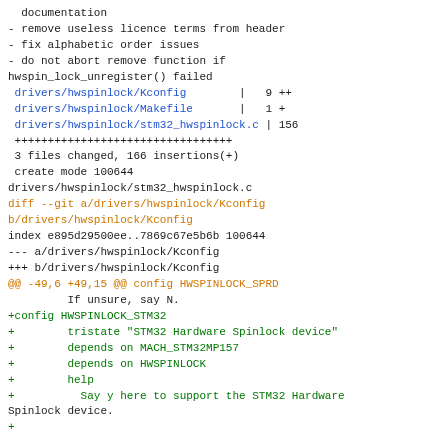documentation
- remove useless licence terms from header
- fix alphabetic order issues
- do not abort remove function if hwspin_lock_unregister() failed
drivers/hwspinlock/Kconfig        |   9 ++
drivers/hwspinlock/Makefile        |   1 +
drivers/hwspinlock/stm32_hwspinlock.c | 156
+++++++++++++++++++++++++++++++++
 3 files changed, 166 insertions(+)
 create mode 100644
drivers/hwspinlock/stm32_hwspinlock.c
diff --git a/drivers/hwspinlock/Kconfig
b/drivers/hwspinlock/Kconfig
index e895d29500ee..7869c67e5b6b 100644
--- a/drivers/hwspinlock/Kconfig
+++ b/drivers/hwspinlock/Kconfig
@@ -49,6 +49,15 @@ config HWSPINLOCK_SPRD
If unsure, say N.
+config HWSPINLOCK_STM32
+        tristate "STM32 Hardware Spinlock device"
+        depends on MACH_STM32MP157
+        depends on HWSPINLOCK
+        help
+          Say y here to support the STM32 Hardware
Spinlock device.
+